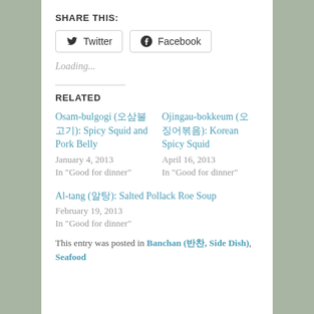SHARE THIS:
Twitter  Facebook
Loading...
RELATED
Osam-bulgogi (오삼불고기): Spicy Squid and Pork Belly
January 4, 2013
In "Good for dinner"
Ojingau-bokkeum (오징어볶음): Korean Spicy Squid
April 16, 2013
In "Good for dinner"
Al-tang (알탕): Salted Pollack Roe Soup
February 19, 2013
In "Good for dinner"
This entry was posted in Banchan (반찬, Side Dish), Seafood